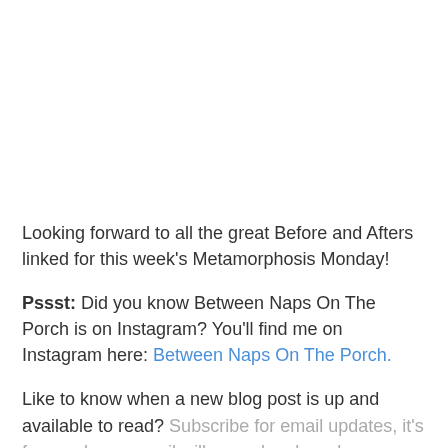Looking forward to all the great Before and Afters linked for this week's Metamorphosis Monday!
Pssst: Did you know Between Naps On The Porch is on Instagram? You'll find me on Instagram here: Between Naps On The Porch.
Like to know when a new blog post is up and available to read? Subscribe for email updates, it's free and your email will never be shared.